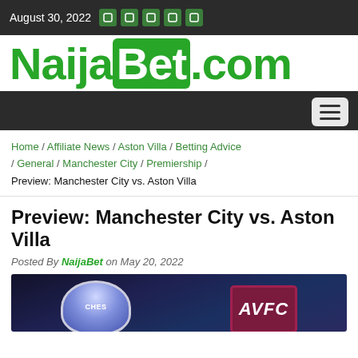August 30, 2022
[Figure (logo): NaijaBet.com logo in green]
Home / Affiliate News / Aston Villa / Betting Advice / General / Manchester City / Premiership / Preview: Manchester City vs. Aston Villa
Preview: Manchester City vs. Aston Villa
Posted By NaijaBet on May 20, 2022
[Figure (photo): Manchester City vs Aston Villa club badges on dark stadium background]